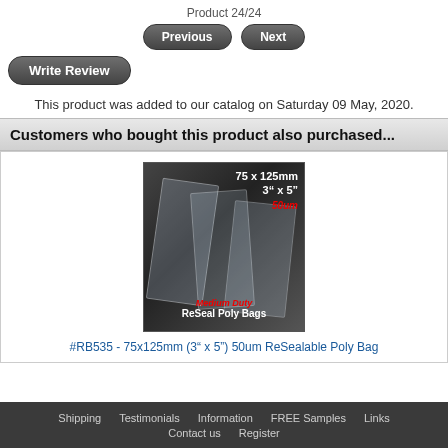Product 24/24
Previous   Next
Write Review
This product was added to our catalog on Saturday 09 May, 2020.
Customers who bought this product also purchased...
[Figure (photo): Photo of clear resealable poly bags labeled 75 x 125mm, 3" x 5", 50um, Medium Duty ReSeal Poly Bags]
#RB535 - 75x125mm (3" x 5") 50um ReSealable Poly Bag
Shipping  Testimonials  Information  FREE Samples  Links  Contact us  Register